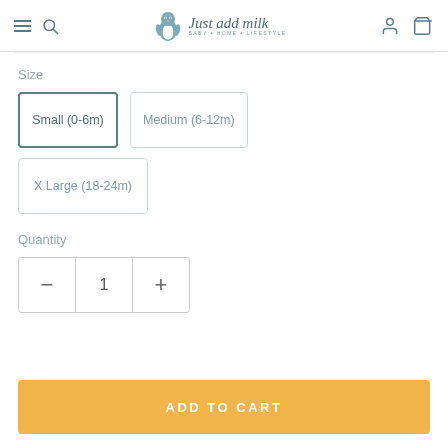[Figure (logo): Just add milk baby+home+lifestyle logo with penguin icon]
Size
Small (0-6m)
Medium (6-12m)
X Large (18-24m)
Quantity
1
ADD TO CART